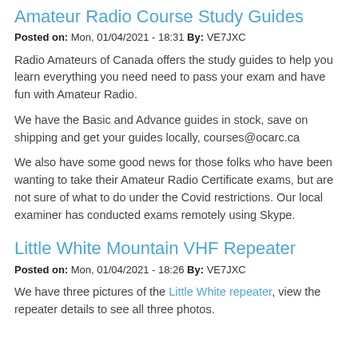Amateur Radio Course Study Guides
Posted on: Mon, 01/04/2021 - 18:31 By: VE7JXC
Radio Amateurs of Canada offers the study guides to help you learn everything you need need to pass your exam and have fun with Amateur Radio.
We have the Basic and Advance guides in stock, save on shipping and get your guides locally, courses@ocarc.ca
We also have some good news for those folks who have been wanting to take their Amateur Radio Certificate exams, but are not sure of what to do under the Covid restrictions. Our local examiner has conducted exams remotely using Skype.
Little White Mountain VHF Repeater
Posted on: Mon, 01/04/2021 - 18:26 By: VE7JXC
We have three pictures of the Little White repeater, view the repeater details to see all three photos.